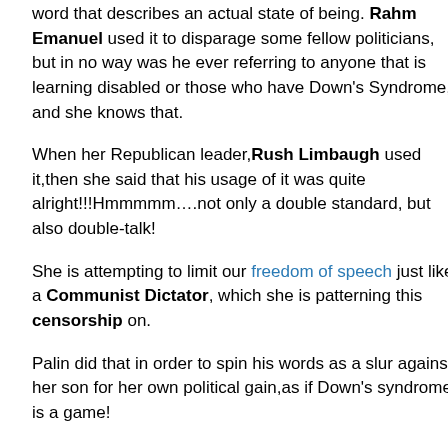word that describes an actual state of being. Rahm Emanuel used it to disparage some fellow politicians, but in no way was he ever referring to anyone that is learning disabled or those who have Down's Syndrome, and she knows that.
When her Republican leader, Rush Limbaugh used it,then she said that his usage of it was quite alright!!!Hmmmmm….not only a double standard, but also double-talk!
She is attempting to limit our freedom of speech just like a Communist Dictator, which she is patterning this censorship on.
Palin did that in order to spin his words as a slur against her son for her own political gain,as if Down's syndrome is a game!